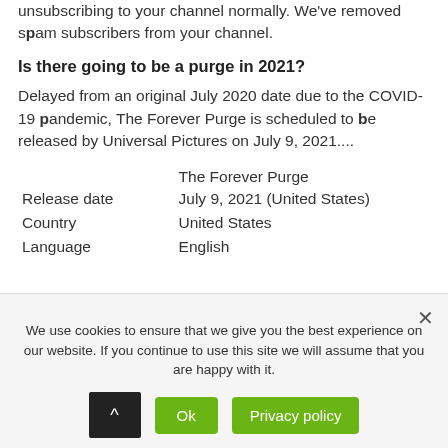unsubscribing to your channel normally. We've removed spam subscribers from your channel.
Is there going to be a purge in 2021?
Delayed from an original July 2020 date due to the COVID-19 pandemic, The Forever Purge is scheduled to be released by Universal Pictures on July 9, 2021....
|  | The Forever Purge |
| Release date | July 9, 2021 (United States) |
| Country | United States |
| Language | English |
We use cookies to ensure that we give you the best experience on our website. If you continue to use this site we will assume that you are happy with it.